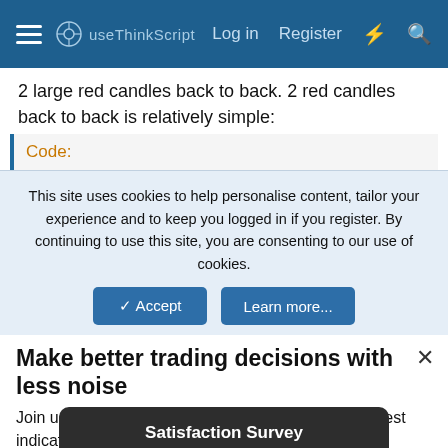useThinkScript — Log in  Register
2 large red candles back to back. 2 red candles back to back is relatively simple:
Code:
This site uses cookies to help personalise content, tailor your experience and to keep you logged in if you register. By continuing to use this site, you are consenting to our use of cookies.
Accept   Learn more...
Make better trading decisions with less noise
Join useThinkScript to stay update to date on the latest indicators, trade strategies, and tips for thinkorswim.
Satisfaction Survey
Reply